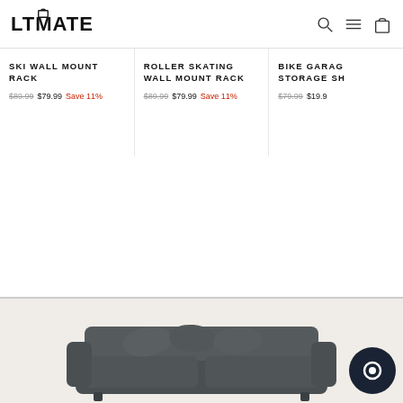LTMATE — navigation with search, menu, cart icons
SKI WALL MOUNT RACK — $89.99 $79.99 Save 11%
ROLLER SKATING WALL MOUNT RACK — $89.99 $79.99 Save 11%
BIKE GARAGE STORAGE SH... — $79.99 $19.9...
[Figure (photo): Bottom section showing a grey sofa/couch on a light beige background with a dark circular chat support icon in the bottom right corner]